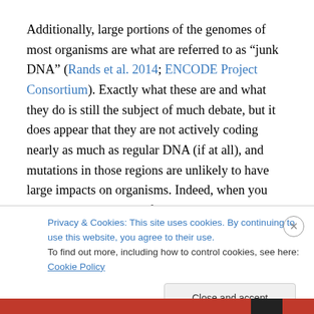Additionally, large portions of the genomes of most organisms are what are referred to as “junk DNA” (Rands et al. 2014; ENCODE Project Consortium). Exactly what these are and what they do is still the subject of much debate, but it does appear that they are not actively coding nearly as much as regular DNA (if at all), and mutations in those regions are unlikely to have large impacts on organisms. Indeed, when you combine the presence of
Privacy & Cookies: This site uses cookies. By continuing to use this website, you agree to their use.
To find out more, including how to control cookies, see here: Cookie Policy
Close and accept